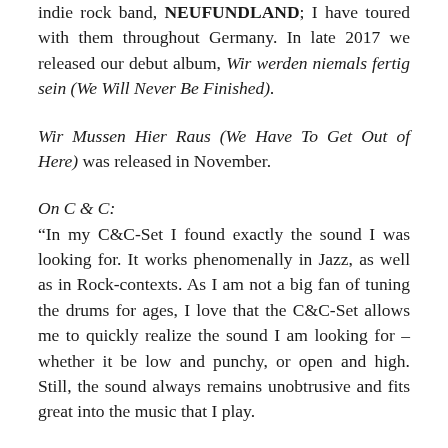indie rock band, NEUFUNDLAND; I have toured with them throughout Germany. In late 2017 we released our debut album, Wir werden niemals fertig sein (We Will Never Be Finished).
Wir Mussen Hier Raus (We Have To Get Out of Here) was released in November.
On C & C:
“In my C&C-Set I found exactly the sound I was looking for. It works phenomenally in Jazz, as well as in Rock-contexts. As I am not a big fan of tuning the drums for ages, I love that the C&C-Set allows me to quickly realize the sound I am looking for – whether it be low and punchy, or open and high. Still, the sound always remains unobtrusive and fits great into the music that I play.